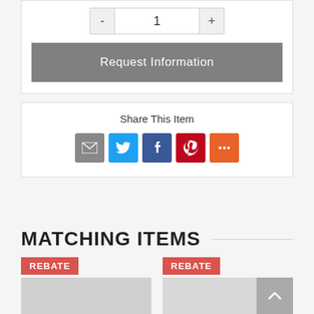- 1 +
Request Information
Share This Item
[Figure (infographic): Social share icons: email (gray), Twitter (blue), Facebook (dark blue), Pinterest (red), More (orange-red)]
MATCHING ITEMS
REBATE
REBATE
[Figure (photo): Product image placeholder (gray) on left column]
[Figure (photo): Product image placeholder (gray) on right column]